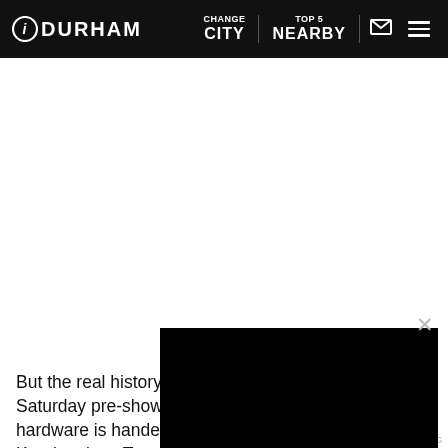inDurham — CHANGE CITY | TOP 5 NEARBY | [mail icon] [menu icon]
[Figure (screenshot): Black video player overlay in bottom-right area with speaker/mute icon and close button (×)]
Go To Video Page
But the real history ca... Saturday pre-show ceremony of the hardware is handed out. That's when Hill Kourkoutis, a Toronto-based record producer and engineer who was raised north of Mendes in the
ADVERTISING